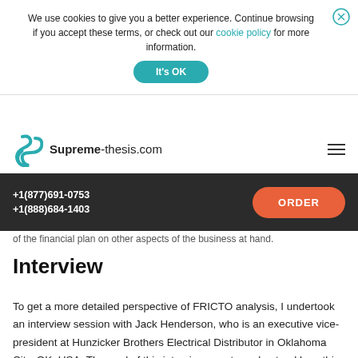We use cookies to give you a better experience. Continue browsing if you accept these terms, or check out our cookie policy for more information.
It's OK
Supreme-thesis.com
+1(877)691-0753  +1(888)684-1403  ORDER
of the financial plan on other aspects of the business at hand.
Interview
To get a more detailed perspective of FRICTO analysis, I undertook an interview session with Jack Henderson, who is an executive vice-president at Hunzicker Brothers Electrical Distributor in Oklahoma City, OK, USA. The goal of this interview was to understand how this tool is adopted by a